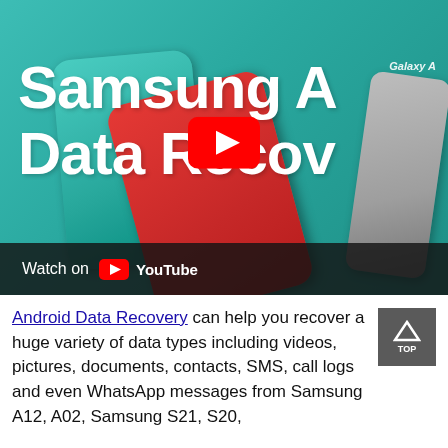[Figure (screenshot): YouTube video thumbnail showing Samsung phones (red, teal, gray) on a teal background with large white text 'Samsung A' and 'Data Recov' (partially visible), a YouTube play button in the center, and a 'Watch on YouTube' bar at the bottom.]
Android Data Recovery can help you recover a huge variety of data types including videos, pictures, documents, contacts, SMS, call logs and even WhatsApp messages from Samsung A12, A02, Samsung S21, S20,